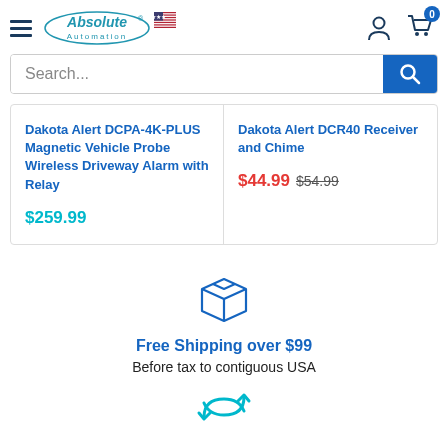[Figure (logo): Absolute Automation logo with US flag]
Search...
Dakota Alert DCPA-4K-PLUS Magnetic Vehicle Probe Wireless Driveway Alarm with Relay
$259.99
Dakota Alert DCR40 Receiver and Chime
$44.99  $54.99
[Figure (illustration): Blue outlined shipping box icon]
Free Shipping over $99
Before tax to contiguous USA
[Figure (illustration): Blue returns/exchange icon (partially visible)]